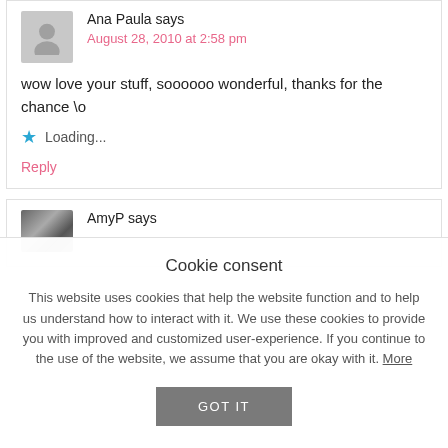Ana Paula says
August 28, 2010 at 2:58 pm
wow love your stuff, soooooo wonderful, thanks for the chance \o
Loading...
Reply
AmyP says
Cookie consent
This website uses cookies that help the website function and to help us understand how to interact with it. We use these cookies to provide you with improved and customized user-experience. If you continue to the use of the website, we assume that you are okay with it. More
GOT IT